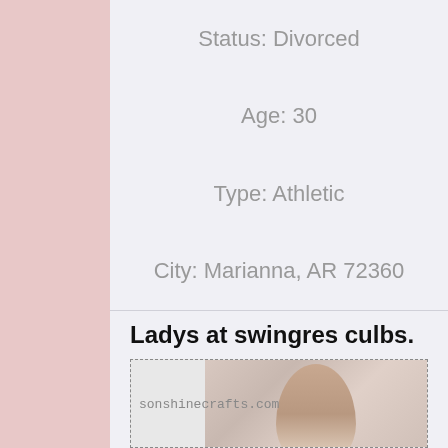Status: Divorced
Age: 30
Type: Athletic
City: Marianna, AR 72360
Ladys at swingres culbs.
[Figure (photo): Photo with watermark text 'sonshinecrafts.com' and a woman's head/hair visible on the right side]